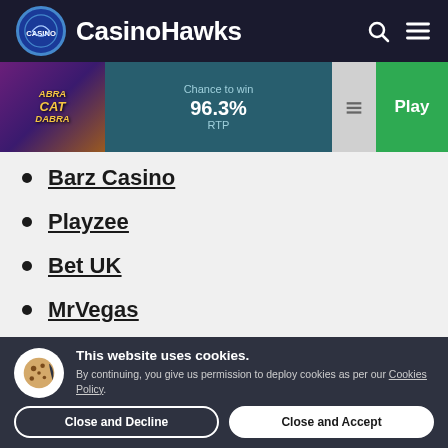CasinoHawks
[Figure (screenshot): AbraCatDabra slot game banner showing 96.3% RTP and Play button]
Barz Casino
Playzee
Bet UK
MrVegas
This website uses cookies. By continuing, you give us permission to deploy cookies as per our Cookies Policy.
Close and Decline | Close and Accept